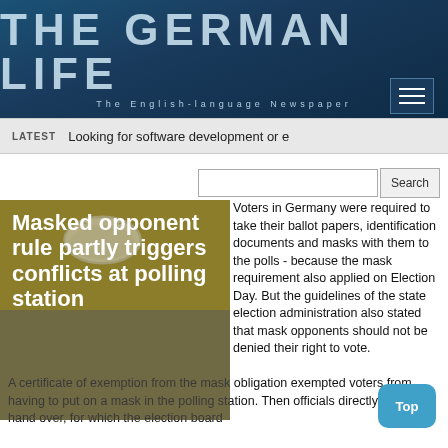THE GERMAN LIFE — The English-language Newspaper
LATEST  Looking for software development or e
Masked opponent rule partly triggers conflicts at polling station
Voters in Germany were required to take their ballot papers, identification documents and masks with them to the polls - because the mask requirement also applied on Election Day. But the guidelines of the state election administration also stated that mask opponents should not be denied their right to vote.
A certificate of exemption from the mask obligation exempted voters from having to put on a mask in the polling station. Then officials directly asked to hand over, for which the election board